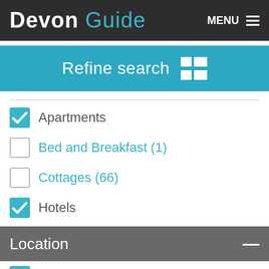Devon Guide  MENU
Refine search
Apartments (checked)
Bed and Breakfast (1) (unchecked)
Cottages (66) (unchecked)
Hotels (checked)
Location
Appledore (checked)
Bideford (6) (unchecked)